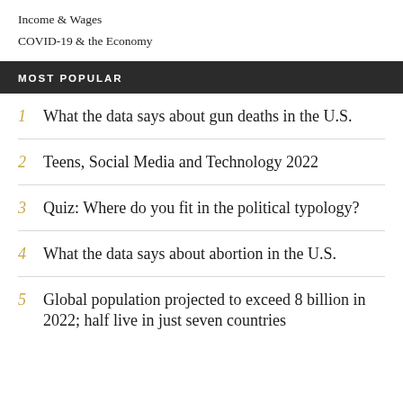Income & Wages
COVID-19 & the Economy
MOST POPULAR
1 What the data says about gun deaths in the U.S.
2 Teens, Social Media and Technology 2022
3 Quiz: Where do you fit in the political typology?
4 What the data says about abortion in the U.S.
5 Global population projected to exceed 8 billion in 2022; half live in just seven countries